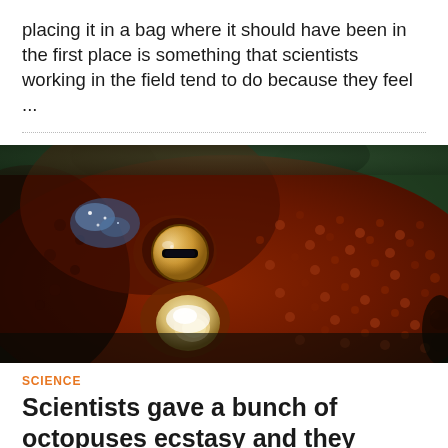placing it in a bag where it should have been in the first place is something that scientists working in the field tend to do because they feel ...
[Figure (photo): Close-up photograph of an octopus face showing textured reddish-brown skin and a distinctive eye with horizontal pupil]
SCIENCE
Scientists gave a bunch of octopuses ecstasy and they started acting just like